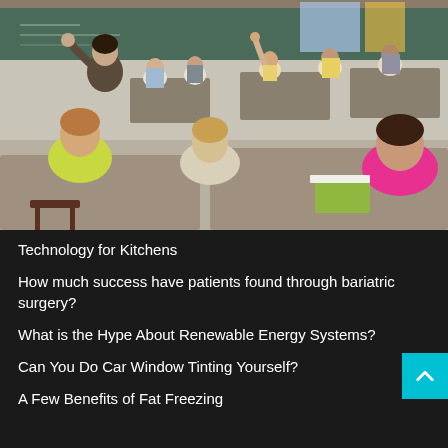[Figure (photo): Classroom scene with a teacher gesturing and students sitting at desks, some raising their hands. Students include children of various ages. A pink water bottle is visible on a desk in the foreground.]
Technology for Kitchens
How much success have patients found through bariatric surgery?
What is the Hype About Renewable Energy Systems?
Can You Do Car Window Tinting Yourself?
A Few Benefits of Fat Freezing